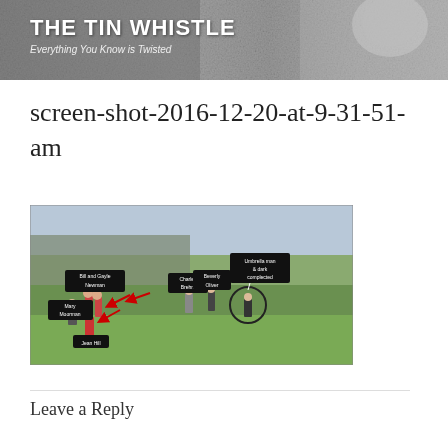THE TIN WHISTLE
Everything You Know is Twisted
screen-shot-2016-12-20-at-9-31-51-am
[Figure (photo): Annotated photograph of Dealey Plaza with labeled figures including Bill and Gayle Newman, Mary Moorman, Jean Hill, Charles Brehm, Beverly Oliver, and Umbrella man & dark complected man, with red arrows and a circle highlighting certain individuals on a grassy area.]
Leave a Reply